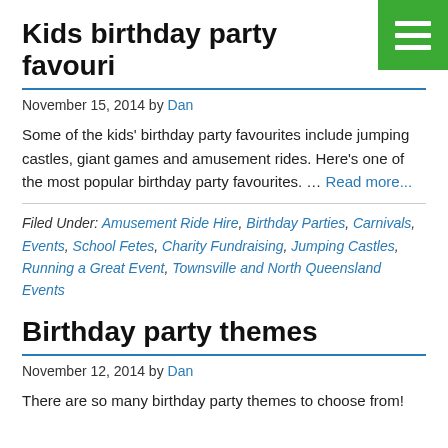Kids birthday party favouri
November 15, 2014 by Dan
Some of the kids' birthday party favourites include jumping castles, giant games and amusement rides. Here's one of the most popular birthday party favourites. … Read more...
Filed Under: Amusement Ride Hire, Birthday Parties, Carnivals, Events, School Fetes, Charity Fundraising, Jumping Castles, Running a Great Event, Townsville and North Queensland Events
Birthday party themes
November 12, 2014 by Dan
There are so many birthday party themes to choose from!